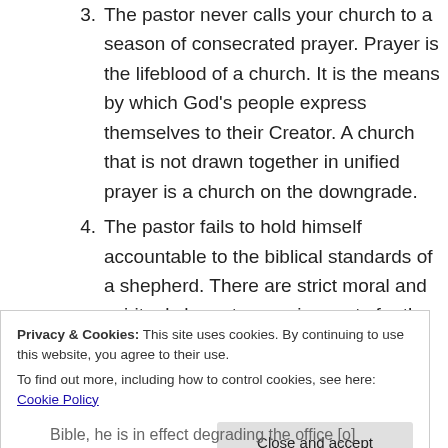3. The pastor never calls your church to a season of consecrated prayer. Prayer is the lifeblood of a church. It is the means by which God's people express themselves to their Creator. A church that is not drawn together in unified prayer is a church on the downgrade.
4. The pastor fails to hold himself accountable to the biblical standards of a shepherd. There are strict moral and spiritual character requirements for the position. This
Privacy & Cookies: This site uses cookies. By continuing to use this website, you agree to their use.
To find out more, including how to control cookies, see here: Cookie Policy
Close and accept
Bible, he is in effect degrading the office [o]